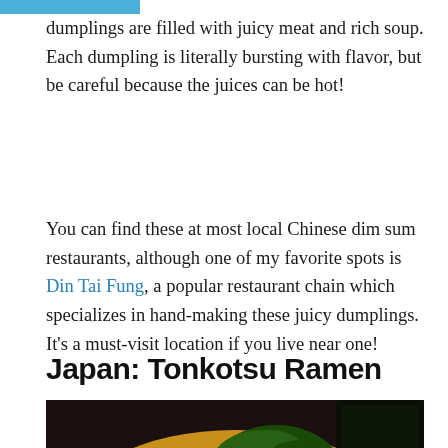dumplings are filled with juicy meat and rich soup. Each dumpling is literally bursting with flavor, but be careful because the juices can be hot!
You can find these at most local Chinese dim sum restaurants, although one of my favorite spots is Din Tai Fung, a popular restaurant chain which specializes in hand-making these juicy dumplings. It’s a must-visit location if you live near one!
Japan: Tonkotsu Ramen
[Figure (photo): Close-up photo of a bowl of tonkotsu ramen with a black ladle, noodles, green leafy vegetables (spinach/bok choy), a halved soft-boiled egg, and dark nori seaweed in a rich broth.]